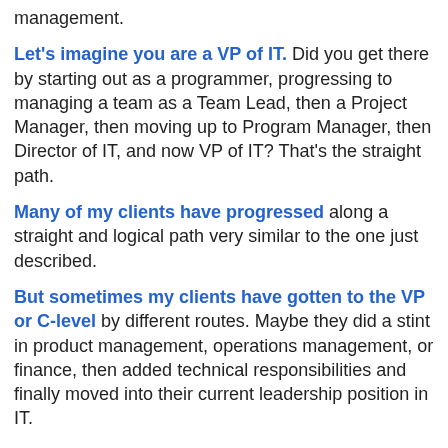management.
Let's imagine you are a VP of IT. Did you get there by starting out as a programmer, progressing to managing a team as a Team Lead, then a Project Manager, then moving up to Program Manager, then Director of IT, and now VP of IT? That's the straight path.
Many of my clients have progressed along a straight and logical path very similar to the one just described.
But sometimes my clients have gotten to the VP or C-level by different routes. Maybe they did a stint in product management, operations management, or finance, then added technical responsibilities and finally moved into their current leadership position in IT.
Is one better than the other? What is your opinion? There are benefits to both. The straight road folks have a sense of IT at both big picture and granular levels and deep expertise in how IT should operate. The rotary people bring to IT perhaps a broader grasp of overall business needs and the